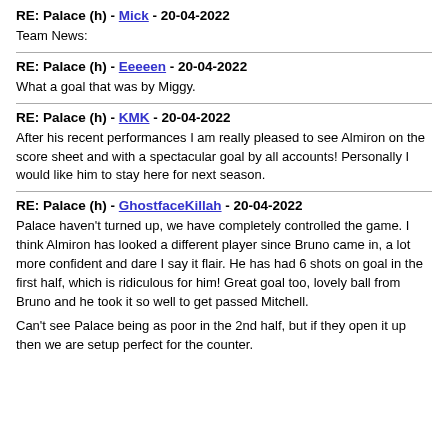RE: Palace (h) - Mick - 20-04-2022
Team News:
RE: Palace (h) - Eeeeen - 20-04-2022
What a goal that was by Miggy.
RE: Palace (h) - KMK - 20-04-2022
After his recent performances I am really pleased to see Almiron on the score sheet and with a spectacular goal by all accounts! Personally I would like him to stay here for next season.
RE: Palace (h) - GhostfaceKillah - 20-04-2022
Palace haven't turned up, we have completely controlled the game. I think Almiron has looked a different player since Bruno came in, a lot more confident and dare I say it flair. He has had 6 shots on goal in the first half, which is ridiculous for him! Great goal too, lovely ball from Bruno and he took it so well to get passed Mitchell.
Can't see Palace being as poor in the 2nd half, but if they open it up then we are setup perfect for the counter.